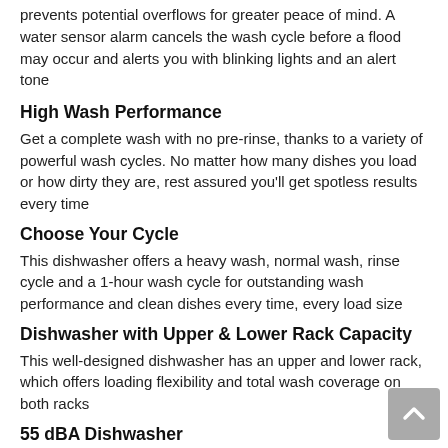prevents potential overflows for greater peace of mind. A water sensor alarm cancels the wash cycle before a flood may occur and alerts you with blinking lights and an alert tone
High Wash Performance
Get a complete wash with no pre-rinse, thanks to a variety of powerful wash cycles. No matter how many dishes you load or how dirty they are, rest assured you'll get spotless results every time
Choose Your Cycle
This dishwasher offers a heavy wash, normal wash, rinse cycle and a 1-hour wash cycle for outstanding wash performance and clean dishes every time, every load size
Dishwasher with Upper & Lower Rack Capacity
This well-designed dishwasher has an upper and lower rack, which offers loading flexibility and total wash coverage on both racks
55 dBA Dishwasher
This quiet dishwasher provides peace of mind...